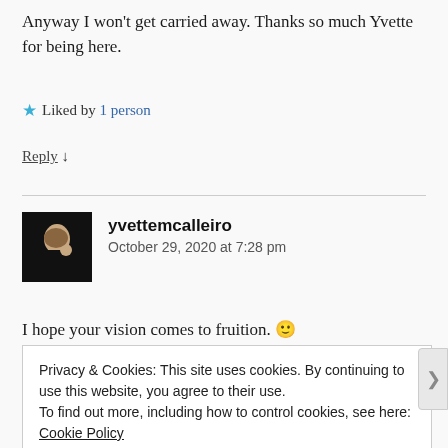Anyway I won't get carried away. Thanks so much Yvette for being here.
★ Liked by 1 person
Reply ↓
yvettemcalleiro
October 29, 2020 at 7:28 pm
I hope your vision comes to fruition. 🙂
Privacy & Cookies: This site uses cookies. By continuing to use this website, you agree to their use.
To find out more, including how to control cookies, see here: Cookie Policy
Close and accept